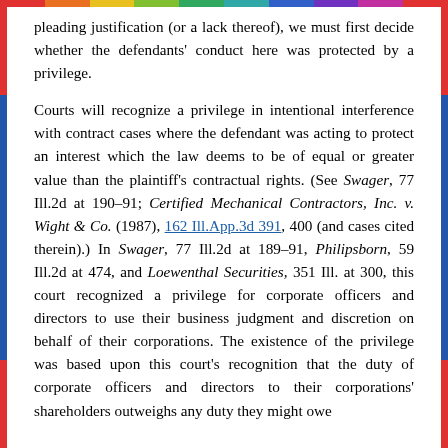pleading justification (or a lack thereof), we must first decide whether the defendants' conduct here was protected by a privilege.
Courts will recognize a privilege in intentional interference with contract cases where the defendant was acting to protect an interest which the law deems to be of equal or greater value than the plaintiff's contractual rights. (See Swager, 77 Ill.2d at 190-91; Certified Mechanical Contractors, Inc. v. Wight & Co. (1987), 162 Ill.App.3d 391, 400 (and cases cited therein).) In Swager, 77 Ill.2d at 189-91, Philipsborn, 59 Ill.2d at 474, and Loewenthal Securities, 351 Ill. at 300, this court recognized a privilege for corporate officers and directors to use their business judgment and discretion on behalf of their corporations. The existence of the privilege was based upon this court's recognition that the duty of corporate officers and directors to their corporations' shareholders outweighs any duty they might owe